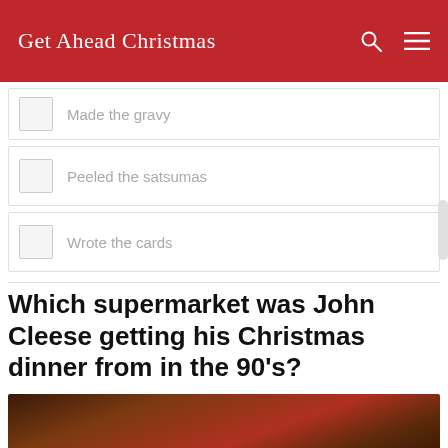Get Ahead Christmas
Made the gravy
Peeled the satsumas
Wrote the cards
Which supermarket was John Cleese getting his Christmas dinner from in the 90's?
[Figure (photo): Dark photo showing Christmas dinner items, partially visible at bottom of page]